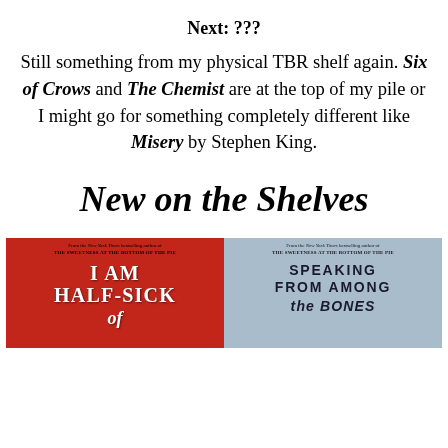Next: ???
Still something from my physical TBR shelf again. Six of Crows and The Chemist are at the top of my pile or I might go for something completely different like Misery by Stephen King.
New on the Shelves
[Figure (photo): Two book covers side by side: 'I Am Half-Sick of' (on a red background) on the left, and 'Speaking From Among the Bones' (on a blue/grey background) on the right. Both are by the New York Times bestselling author of The Sweetness at the Bottom of the Pie.]